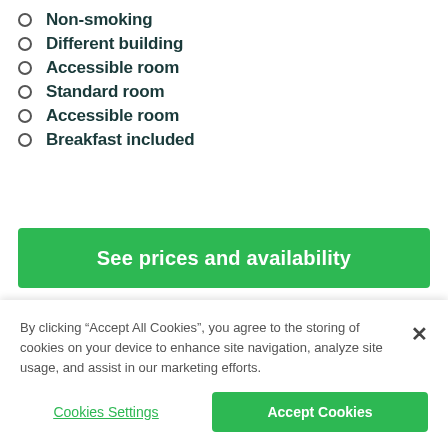Non-smoking
Different building
Accessible room
Standard room
Accessible room
Breakfast included
See prices and availability
By clicking “Accept All Cookies”, you agree to the storing of cookies on your device to enhance site navigation, analyze site usage, and assist in our marketing efforts.
Cookies Settings
Accept Cookies